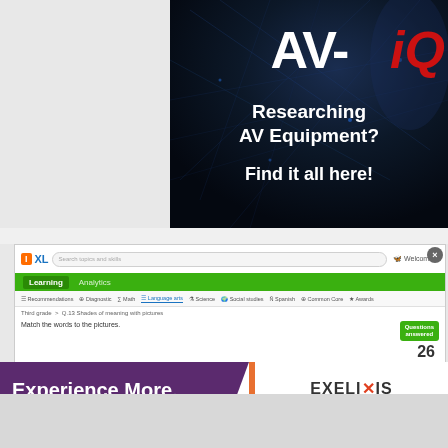[Figure (screenshot): AV-iQ advertisement banner with dark blue/black background and network lines graphic. Shows 'AV-iQ' logo with white AV and red italic iQ, text reads 'Researching AV Equipment? Find it all here!']
[Figure (screenshot): IXL learning platform screenshot showing navigation bar with Learning and Analytics tabs, green nav bar, Language arts subnav active, breadcrumb showing Third grade > Q.13 Shades of meaning with pictures, question text 'Match the words to the pictures', green Questions answered button, score showing 26]
[Figure (screenshot): Exelixis recruitment advertisement with purple left panel saying 'Experience More. Innovate oncology with us.' and white right panel showing Exelixis logo with 'View jobs' text]